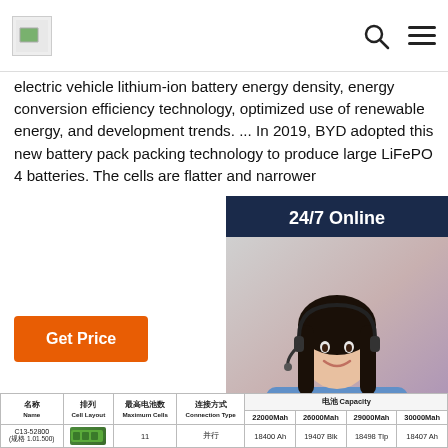[Logo] [Search icon] [Menu icon]
electric vehicle lithium-ion battery energy density, energy conversion efficiency technology, optimized use of renewable energy, and development trends. ... In 2019, BYD adopted this new battery pack packing technology to produce large LiFePO 4 batteries. The cells are flatter and narrowe...
[Figure (photo): Customer service representative with headset, smiling. Chat widget overlay with '24/7 Online' header, 'Click here for free chat!' text, and orange QUOTATION button.]
Get Price
| 名称 Name | 排列 Cell Layout | 最高电池数 Maximum Cells | 连接方式 Connection Type | 电池 Capacity: 22000Mah | 电池 Capacity: 26000Mah | 电池 Capacity: 29000Mah | 电池 Capacity: 30000Mah |
| --- | --- | --- | --- | --- | --- | --- | --- |
| C13-52800 (规格 1.01.500) | [battery image] | 11 | 并行 | 18400 Ah | 19407 Blk | 18498 Tlp | 18407 Ah |